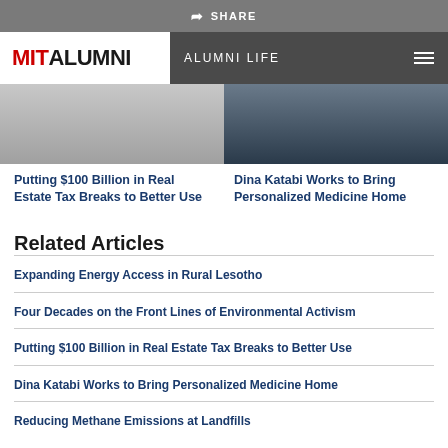SHARE
MIT ALUMNI | ALUMNI LIFE
[Figure (photo): Two side-by-side article thumbnail photos in a strip]
Putting $100 Billion in Real Estate Tax Breaks to Better Use
Dina Katabi Works to Bring Personalized Medicine Home
Related Articles
Expanding Energy Access in Rural Lesotho
Four Decades on the Front Lines of Environmental Activism
Putting $100 Billion in Real Estate Tax Breaks to Better Use
Dina Katabi Works to Bring Personalized Medicine Home
Reducing Methane Emissions at Landfills